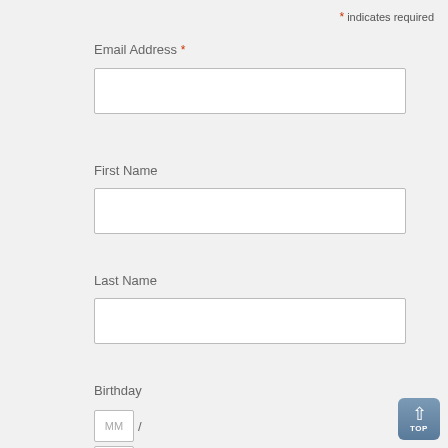* indicates required
Email Address *
[Figure (screenshot): Empty text input box for Email Address]
First Name
[Figure (screenshot): Empty text input box for First Name]
Last Name
[Figure (screenshot): Empty text input box for Last Name]
Birthday
[Figure (screenshot): Birthday input fields with MM and DD boxes separated by slash]